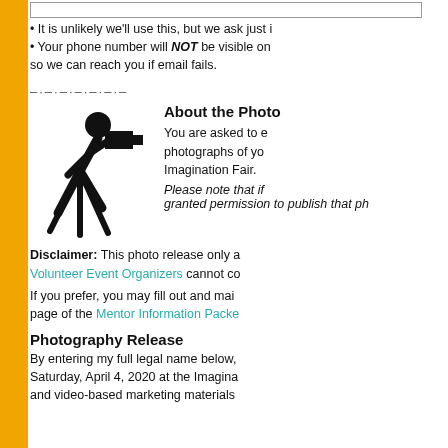• It is unlikely we'll use this, but we ask just i
• Your phone number will NOT be visible on so we can reach you if email fails.
–·–·–·–·–·–·–
About the Photo
[Figure (illustration): Stick figure photographer with camera on tripod, leaning forward]
You are asked to e photographs of yo Imagination Fair.
Please note that if granted permission to publish that ph
Disclaimer: This photo release only a Volunteer Event Organizers cannot co
If you prefer, you may fill out and mai page of the Mentor Information Packe
Photography Release
By entering my full legal name below, Saturday, April 4, 2020 at the Imagina and video-based marketing materials